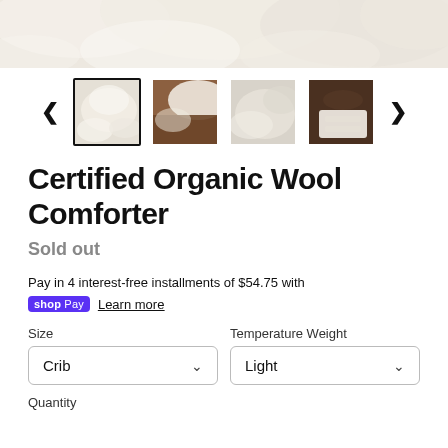[Figure (photo): Close-up of white/cream organic wool comforter fabric texture, partially cropped at top of page]
[Figure (screenshot): Thumbnail image carousel with left/right navigation arrows and 4 product thumbnails: selected white wool comforter, brown/white comforter detail, gray comforter, dark background with folded white comforter]
Certified Organic Wool Comforter
Sold out
Pay in 4 interest-free installments of $54.75 with
shop Pay  Learn more
Size
Temperature Weight
Crib
Light
Quantity